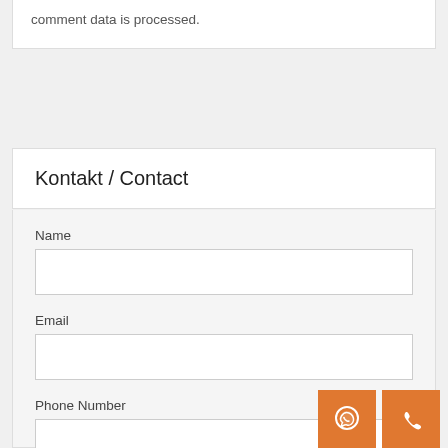comment data is processed.
Kontakt / Contact
Name
Email
Phone Number
[Figure (illustration): Two orange square buttons: a WhatsApp bubble icon and a phone handset icon]
[Figure (illustration): Orange phone button]